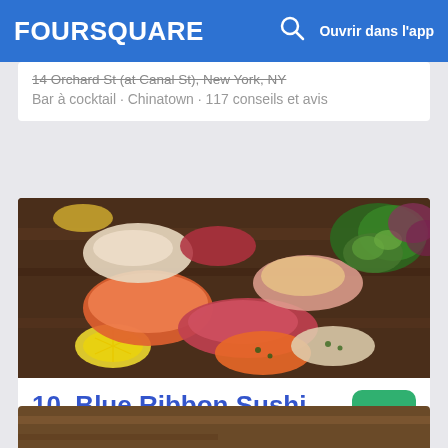FOURSQUARE  Ouvrir dans l'app
14 Orchard St (at Canal St), New York, NY
Bar à cocktail · Chinatown · 117 conseils et avis
[Figure (photo): Photo of assorted sashimi and sushi pieces on a wooden board with lemon and garnish]
10. Blue Ribbon Sushi
9.1
119 Sullivan St (btwn Prince & Spring St), New York, NY
Bar à sushis · SoHo · 290 conseils et avis
[Figure (photo): Partial photo visible at bottom of page]